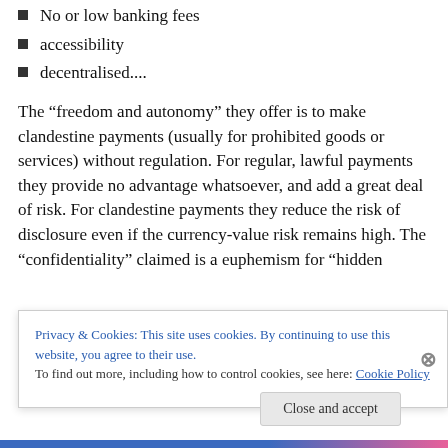No or low banking fees
accessibility
decentralised....
The “freedom and autonomy” they offer is to make clandestine payments (usually for prohibited goods or services) without regulation. For regular, lawful payments they provide no advantage whatsoever, and add a great deal of risk. For clandestine payments they reduce the risk of disclosure even if the currency-value risk remains high. The “confidentiality” claimed is a euphemism for “hidden
Privacy & Cookies: This site uses cookies. By continuing to use this website, you agree to their use.
To find out more, including how to control cookies, see here: Cookie Policy